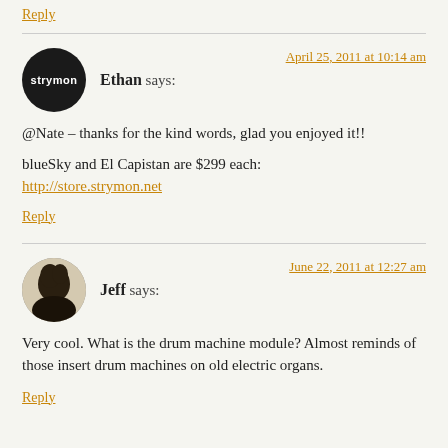Reply
Ethan says:
April 25, 2011 at 10:14 am
@Nate – thanks for the kind words, glad you enjoyed it!!
blueSky and El Capistan are $299 each:
http://store.strymon.net
Reply
Jeff says:
June 22, 2011 at 12:27 am
Very cool. What is the drum machine module? Almost reminds of those insert drum machines on old electric organs.
Reply